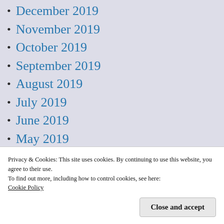December 2019
November 2019
October 2019
September 2019
August 2019
July 2019
June 2019
May 2019
April 2019
March 2019
February 2019
Privacy & Cookies: This site uses cookies. By continuing to use this website, you agree to their use.
To find out more, including how to control cookies, see here:
Cookie Policy
August 2018